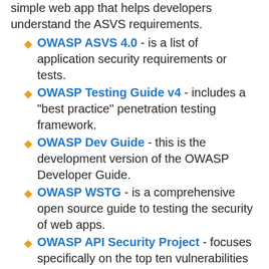simple web app that helps developers understand the ASVS requirements.
OWASP ASVS 4.0 - is a list of application security requirements or tests.
OWASP Testing Guide v4 - includes a "best practice" penetration testing framework.
OWASP Dev Guide - this is the development version of the OWASP Developer Guide.
OWASP WSTG - is a comprehensive open source guide to testing the security of web apps.
OWASP API Security Project - focuses specifically on the top ten vulnerabilities in API security.
Mozilla Web Security - help operational teams with creating secure web applications.
security-bulletins - security bulletins that relate to .Net Open Source...